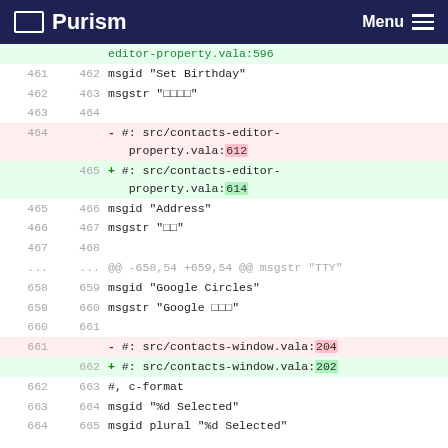Purism  Menu
| old | new | content |
| --- | --- | --- |
|  |  | editor-property.vala:596 |
| 461 | 462 | msgid "Set Birthday" |
| 462 | 463 | msgstr "□□□□" |
| 463 | 464 |  |
| 464 |  | - #: src/contacts-editor-property.vala:612 |
|  | 465 | + #: src/contacts-editor-property.vala:614 |
| 465 | 466 | msgid "Address" |
| 466 | 467 | msgstr "□□" |
| 467 | 468 |  |
| ... | ... | @@ -658,54 +659,54 @@ msgstr "TTY" |
| 658 | 659 | msgid "Google Circles" |
| 659 | 660 | msgstr "Google □□□" |
| 660 | 661 |  |
| 661 |  | - #: src/contacts-window.vala:204 |
|  | 662 | + #: src/contacts-window.vala:202 |
| 662 | 663 | #, c-format |
| 663 | 664 | msgid "%d Selected" |
| 664 | 665 | msgid plural "%d Selected" |